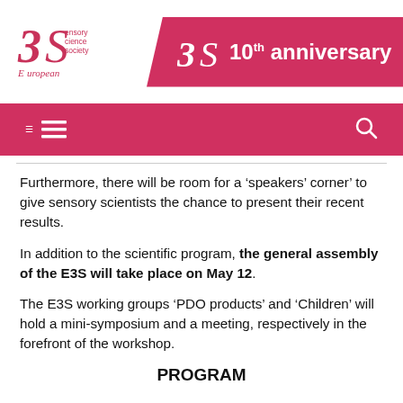[Figure (logo): European Sensory Science Society (3S) logo on the left, and a dark pink/red banner with 3S logo and '10th anniversary' text on the right]
[Figure (screenshot): Pink navigation bar with hamburger menu icon on the left and search icon on the right]
Furthermore, there will be room for a ‘speakers’ corner’ to give sensory scientists the chance to present their recent results.
In addition to the scientific program, the general assembly of the E3S will take place on May 12.
The E3S working groups ‘PDO products’ and ‘Children’ will hold a mini-symposium and a meeting, respectively in the forefront of the workshop.
PROGRAM